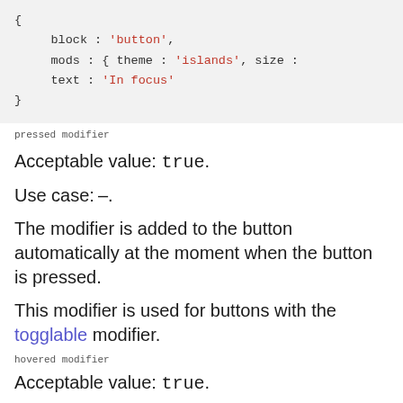[Figure (screenshot): Code block showing JSON-like object with block: 'button', mods: { theme: 'islands', size: ..., text: 'In focus']
pressed modifier
Acceptable value: true.
Use case: –.
The modifier is added to the button automatically at the moment when the button is pressed.
This modifier is used for buttons with the togglable modifier.
hovered modifier
Acceptable value: true.